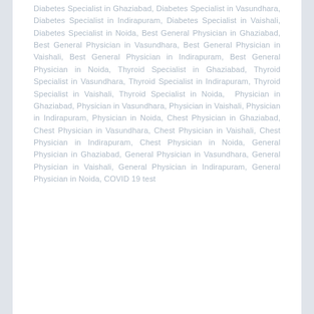Diabetes Specialist in Ghaziabad, Diabetes Specialist in Vasundhara, Diabetes Specialist in Indirapuram, Diabetes Specialist in Vaishali, Diabetes Specialist in Noida, Best General Physician in Ghaziabad, Best General Physician in Vasundhara, Best General Physician in Vaishali, Best General Physician in Indirapuram, Best General Physician in Noida, Thyroid Specialist in Ghaziabad, Thyroid Specialist in Vasundhara, Thyroid Specialist in Indirapuram, Thyroid Specialist in Vaishali, Thyroid Specialist in Noida, Physician in Ghaziabad, Physician in Vasundhara, Physician in Vaishali, Physician in Indirapuram, Physician in Noida, Chest Physician in Ghaziabad, Chest Physician in Vasundhara, Chest Physician in Vaishali, Chest Physician in Indirapuram, Chest Physician in Noida, General Physician in Ghaziabad, General Physician in Vasundhara, General Physician in Vaishali, General Physician in Indirapuram, General Physician in Noida, COVID 19 test